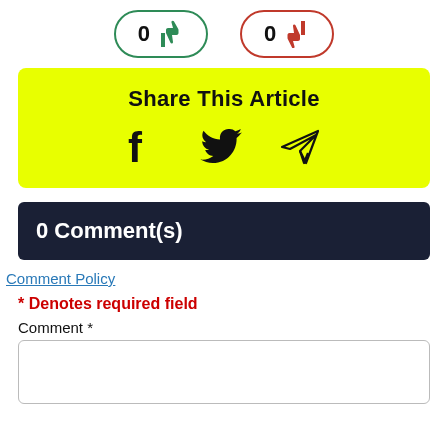[Figure (other): Vote buttons: thumbs up with count 0 (green border) and thumbs down with count 0 (red border)]
[Figure (infographic): Share This Article box with yellow background, showing Facebook, Twitter, and Telegram icons]
0 Comment(s)
Comment Policy
* Denotes required field
Comment *
[Figure (other): Empty comment text area input box]